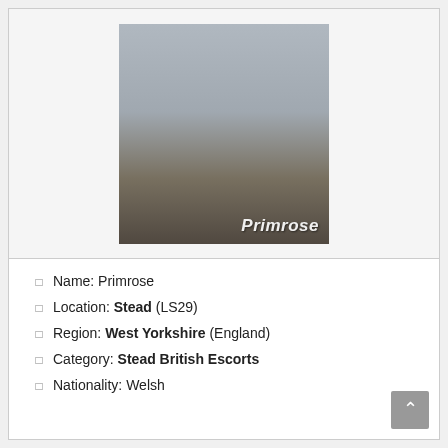[Figure (photo): A woman in a blue bikini top and floral shorts standing at a beach. The name 'Primrose' is overlaid in white italic text at the bottom right of the photo.]
Name: Primrose
Location: Stead (LS29)
Region: West Yorkshire (England)
Category: Stead British Escorts
Nationality: Welsh